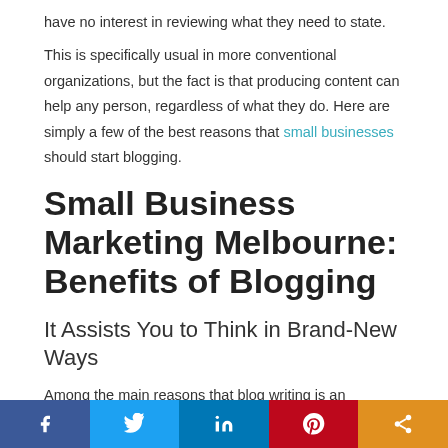have no interest in reviewing what they need to state.
This is specifically usual in more conventional organizations, but the fact is that producing content can help any person, regardless of what they do. Here are simply a few of the best reasons that small businesses should start blogging.
Small Business Marketing Melbourne: Benefits of Blogging
It Assists You to Think in Brand-New Ways
Among the main reasons that blog writing is an excellent concept is that it forces you to quit and think of your organization and your industry. It will also urge you to surf other sites to see what is relevant, seeing to it that you stay ahead of the curve.